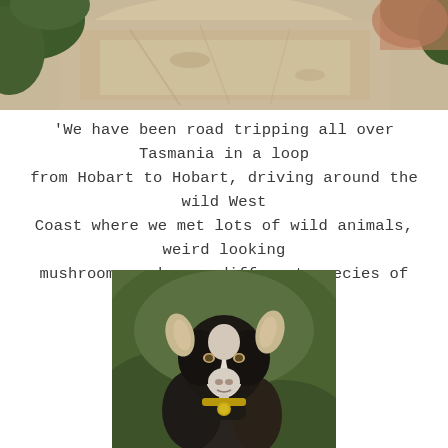[Figure (photo): Aerial or landscape photo showing a pale sandy/dirt road or path with green vegetation at the edges, viewed from above or at an angle — top portion of page]
'We have been road tripping all over Tasmania in a loop from Hobart to Hobart, driving around the wild West Coast where we met lots of wild animals, weird looking mushrooms and many different species of plant.
[Figure (photo): Close-up portrait of a black and white goat with large ears, looking directly at the camera, with a blurred green background. The goat has a collar with a bell.]